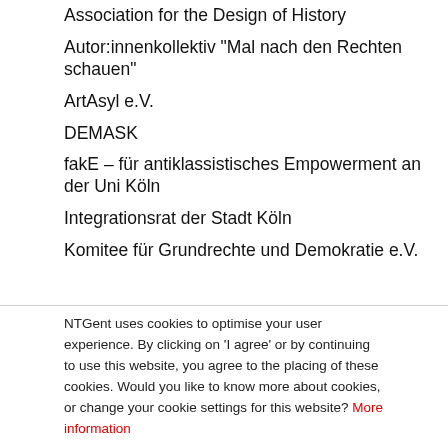Association for the Design of History
Autor:innenkollektiv "Mal nach den Rechten schauen"
ArtAsyl e.V.
DEMASK
fakE – für antiklassistisches Empowerment an der Uni Köln
Integrationsrat der Stadt Köln
Komitee für Grundrechte und Demokratie e.V.
NTGent uses cookies to optimise your user experience. By clicking on 'I agree' or by continuing to use this website, you agree to the placing of these cookies. Would you like to know more about cookies, or change your cookie settings for this website? More information
I agree